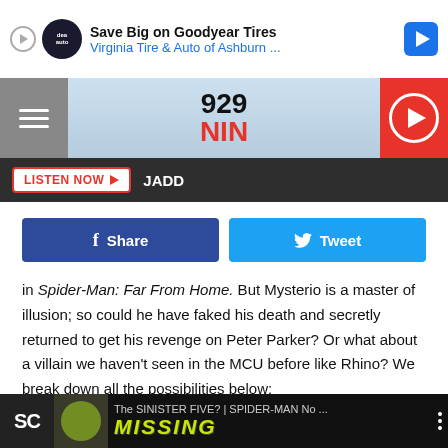[Figure (screenshot): Ad banner: Save Big on Goodyear Tires – Virginia Tire & Auto of Ashburn ...]
[Figure (logo): 92.9 NIN radio station logo and navigation bar with hamburger menu and play button]
LISTEN NOW ▶  JADD
[Figure (infographic): Social share buttons: Facebook Share and Twitter Tweet]
in Spider-Man: Far From Home. But Mysterio is a master of illusion; so could he have faked his death and secretly returned to get his revenge on Peter Parker? Or what about a villain we haven't seen in the MCU before like Rhino? We break down all the possibilities below:
[Figure (screenshot): Video thumbnail strip: SC logo, The SINISTER FIVE? | SPIDER-MAN No ... with MISSING text overlay]